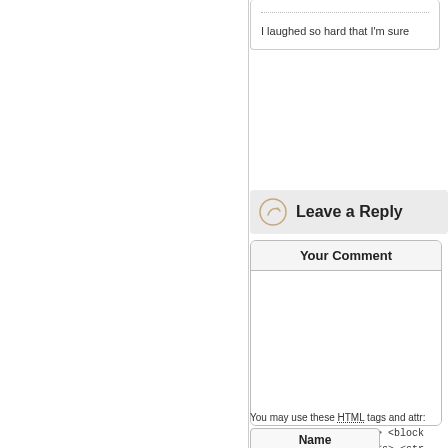I laughed so hard that I'm sure
Leave a Reply
Your Comment
You may use these HTML tags and attr: <acronym title=""> <b> <block <em> <i> <q cite=""> <s> <str
Name